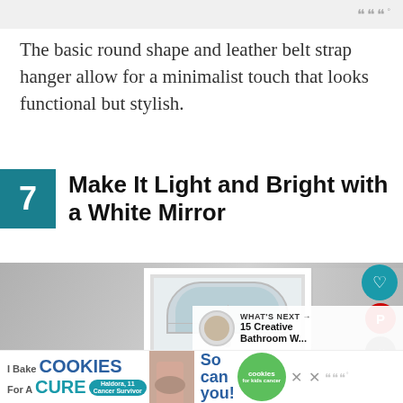www
The basic round shape and leather belt strap hanger allow for a minimalist touch that looks functional but stylish.
7 Make It Light and Bright with a White Mirror
[Figure (photo): Photo of a white-framed mirror on a grey textured wall, reflecting a window with an arched top. Social sharing buttons (heart, Pinterest, share) visible in top-right corner. A 'What's Next' overlay shows a thumbnail and text '15 Creative Bathroom W...']
[Figure (infographic): Advertisement banner: 'I Bake COOKIES For A CURE' with photo of a girl and text 'So can you!' with green circular badge for 'cookies for kids cancer'. An X close button appears twice. A logo appears at the bottom right.]